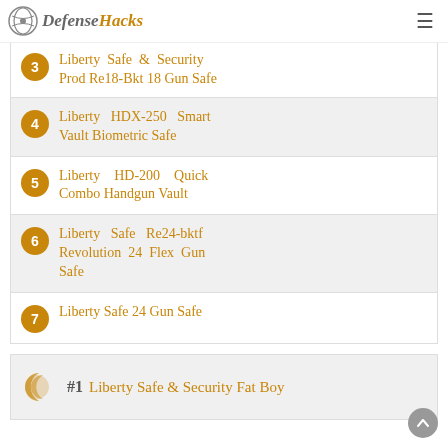DefenseHacks
3 Liberty Safe & Security Prod Re18-Bkt 18 Gun Safe
4 Liberty HDX-250 Smart Vault Biometric Safe
5 Liberty HD-200 Quick Combo Handgun Vault
6 Liberty Safe Re24-bktf Revolution 24 Flex Gun Safe
7 Liberty Safe 24 Gun Safe
#1 Liberty Safe & Security Fat Boy